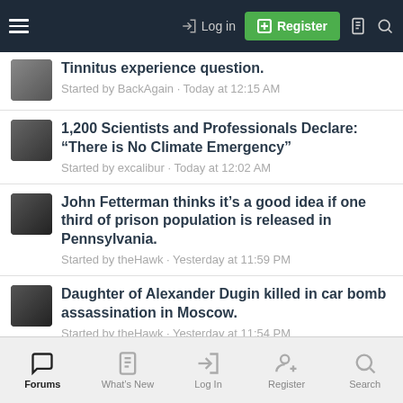Log in | Register
Tinnitus experience question. Started by BackAgain · Today at 12:15 AM
1,200 Scientists and Professionals Declare: “There is No Climate Emergency” Started by excalibur · Today at 12:02 AM
John Fetterman thinks it’s a good idea if one third of prison population is released in Pennsylvania. Started by theHawk · Yesterday at 11:59 PM
Daughter of Alexander Dugin killed in car bomb assassination in Moscow. Started by theHawk · Yesterday at 11:54 PM
Forums | What’s New | Log In | Register | Search